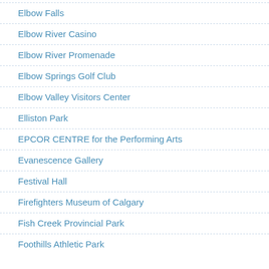Elbow Falls
Elbow River Casino
Elbow River Promenade
Elbow Springs Golf Club
Elbow Valley Visitors Center
Elliston Park
EPCOR CENTRE for the Performing Arts
Evanescence Gallery
Festival Hall
Firefighters Museum of Calgary
Fish Creek Provincial Park
Foothills Athletic Park